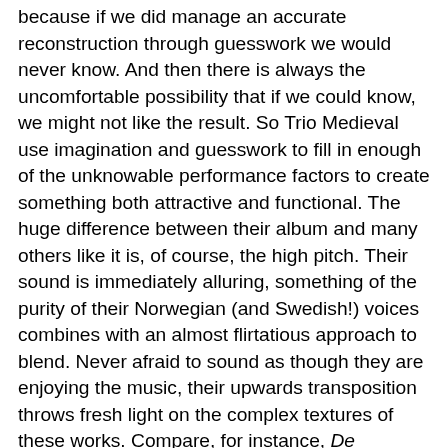because if we did manage an accurate reconstruction through guesswork we would never know. And then there is always the uncomfortable possibility that if we could know, we might not like the result. So Trio Medieval use imagination and guesswork to fill in enough of the unknowable performance factors to create something both attractive and functional. The huge difference between their album and many others like it is, of course, the high pitch. Their sound is immediately alluring, something of the purity of their Norwegian (and Swedish!) voices combines with an almost flirtatious approach to blend. Never afraid to sound as though they are enjoying the music, their upwards transposition throws fresh light on the complex textures of these works. Compare, for instance, De supernis sedibus and Dulciflua tua memoria with the same recorded by The Orlando Consort (Amon Ra CD-SR 59). Although both recordings are absolutely excellent, there is something so innately joyful in the way Trio Mediaeval sing both of these works that just doesn't come across at men's voice pitch. The Orlando Consort sound far more reverential in comparison, simply because the complexity of this polyphony is more cluttered at a lower octave. Trio Mediaeval, therefore, offer something really different and